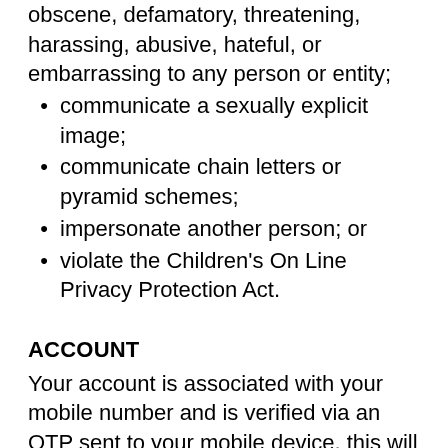obscene, defamatory, threatening, harassing, abusive, hateful, or embarrassing to any person or entity;
communicate a sexually explicit image;
communicate chain letters or pyramid schemes;
impersonate another person; or
violate the Children's On Line Privacy Protection Act.
ACCOUNT
Your account is associated with your mobile number and is verified via an OTP sent to your mobile device, this will allow you to access the TAJ digital platform. You are solely responsible for safeguarding your mobile device, and are prohibited from making available